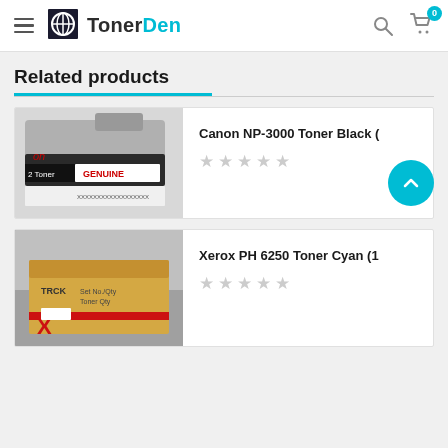TonerDen — navigation header with hamburger menu, logo, search icon, and cart (0 items)
Related products
[Figure (photo): Canon toner cartridge product photo showing a grey/black toner with 'GENUINE' label]
Canon NP-3000 Toner Black (
[Figure (photo): Xerox PH 6250 toner cyan cartridge in a tan cardboard box with Xerox branding]
Xerox PH 6250 Toner Cyan (1